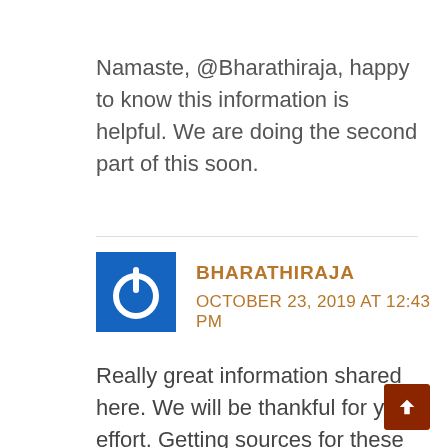Namaste, @Bharathiraja, happy to know this information is helpful. We are doing the second part of this soon.
BHARATHIRAJA
OCTOBER 23, 2019 AT 12:43 PM
Really great information shared here. We will be thankful for your effort. Getting sources for these kind of seeds is difficult somehow. But you have made it. Keep motivating people in terms of sharing information like this. Proud of you.